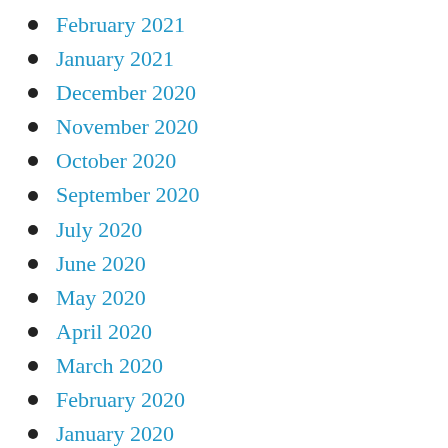February 2021
January 2021
December 2020
November 2020
October 2020
September 2020
July 2020
June 2020
May 2020
April 2020
March 2020
February 2020
January 2020
December 2019
November 2019
September 2019